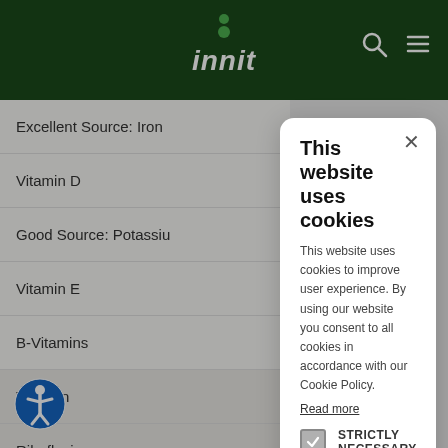[Figure (screenshot): Dark green website header with 'innit' logo in italic white text and green dot, search icon and hamburger menu icon on right]
Excellent Source: Iron
Vitamin D
Good Source: Potassiu
Vitamin E
B-Vitamins
Thiamin
Riboflavin
This website uses cookies
This website uses cookies to improve user experience. By using our website you consent to all cookies in accordance with our Cookie Policy.
Read more
STRICTLY NECESSARY
PERFORMANCE
TARGETING
FUNCTIONALITY
ACCEPT ALL
DECLINE ALL
SHOW DETAILS